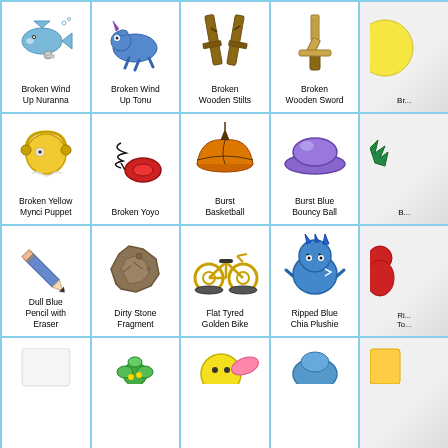[Figure (illustration): Broken Wind Up Nuranna - cartoon shark illustration]
Broken Wind Up Nuranna
[Figure (illustration): Broken Wind Up Tonu - cartoon Tonu lying down]
Broken Wind Up Tonu
[Figure (illustration): Broken Wooden Stilts - brown wooden stilts]
Broken Wooden Stilts
[Figure (illustration): Broken Wooden Sword - wooden sword]
Broken Wooden Sword
[Figure (illustration): Partial item cut off on right]
Br...
[Figure (illustration): Broken Yellow Mynci Puppet - gold circular puppet]
Broken Yellow Mynci Puppet
[Figure (illustration): Broken Yoyo - red yoyo with black string]
Broken Yoyo
[Figure (illustration): Burst Basketball - deflated orange basketball]
Burst Basketball
[Figure (illustration): Burst Blue Bouncy Ball - flattened blue ball]
Burst Blue Bouncy Ball
[Figure (illustration): Partial item cut off on right]
B...
[Figure (illustration): Dull Blue Pencil with Eraser - blue pencil]
Dull Blue Pencil with Eraser
[Figure (illustration): Dirty Stone Fragment - brown rocky fragment]
Dirty Stone Fragment
[Figure (illustration): Flat Tyred Golden Bike - yellow bicycle with flat tires]
Flat Tyred Golden Bike
[Figure (illustration): Ripped Blue Chia Plushie - blue spiky Chia plushie]
Ripped Blue Chia Plushie
[Figure (illustration): Partial Ri... To... item cut off]
Ri... To...
[Figure (illustration): Partial row 4 item 1]
[Figure (illustration): Partial row 4 item 2 - small green plant]
[Figure (illustration): Partial row 4 item 3 - yellow face with pink]
[Figure (illustration): Partial row 4 item 4 - blue figure]
[Figure (illustration): Partial row 4 item 5 cut off]